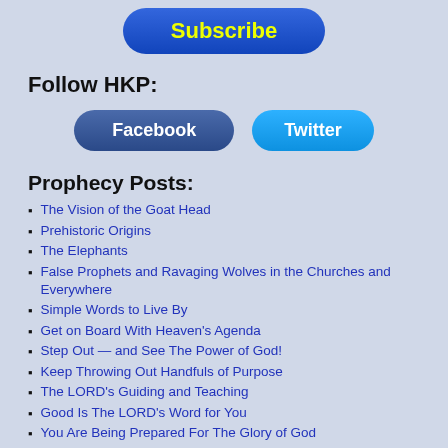[Figure (other): Blue rounded Subscribe button with yellow text]
Follow HKP:
[Figure (other): Facebook and Twitter social media buttons]
Prophecy Posts:
The Vision of the Goat Head
Prehistoric Origins
The Elephants
False Prophets and Ravaging Wolves in the Churches and Everywhere
Simple Words to Live By
Get on Board With Heaven's Agenda
Step Out — and See The Power of God!
Keep Throwing Out Handfuls of Purpose
The LORD's Guiding and Teaching
Good Is The LORD's Word for You
You Are Being Prepared For The Glory of God
Your New Resurrection Spirit, Soul and Last of All, Body
You Are Already Delivered